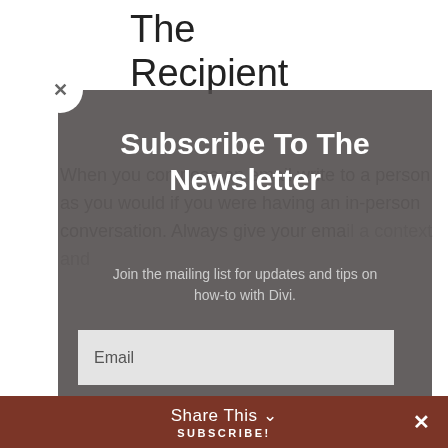The Recipient
When you compose an email write to a person as you would if you were having an in-person conversation. Always give your email a context and
People want to know that you acknowledge them.
If you address the email to their first and last name this immeditaely signals they're one of many on one of your lists
Subscribe To The Newsletter
Join the mailing list for updates and tips on how-to with Divi.
Email
Share This  SUBSCRIBE!